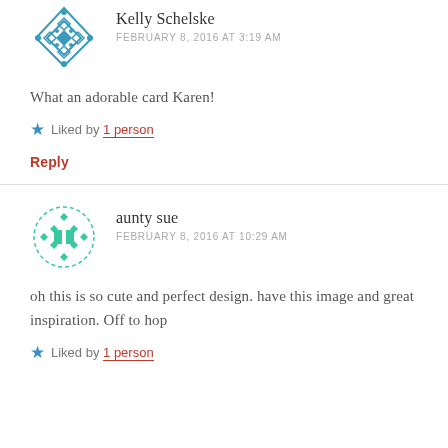[Figure (illustration): Blue geometric diamond/cross pattern avatar for Kelly Schelske]
Kelly Schelske
FEBRUARY 8, 2016 AT 3:19 AM
What an adorable card Karen!
Liked by 1 person
Reply
[Figure (illustration): Teal/green dotted diamond pattern avatar for aunty sue]
aunty sue
FEBRUARY 8, 2016 AT 10:29 AM
oh this is so cute and perfect design. have this image and great inspiration. Off to hop
Liked by 1 person